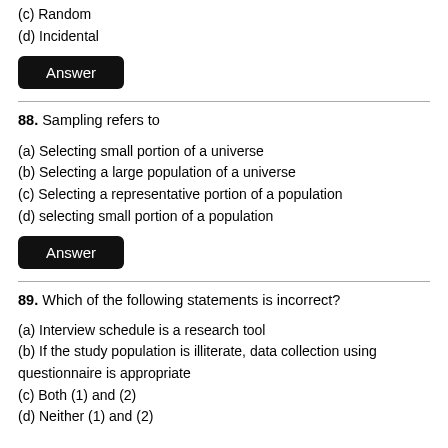(c) Random
(d) Incidental
Answer
88. Sampling refers to
(a) Selecting small portion of a universe
(b) Selecting a large population of a universe
(c) Selecting a representative portion of a population
(d) selecting small portion of a population
Answer
89. Which of the following statements is incorrect?
(a) Interview schedule is a research tool
(b) If the study population is illiterate, data collection using questionnaire is appropriate
(c) Both (1) and (2)
(d) Neither (1) and (2)